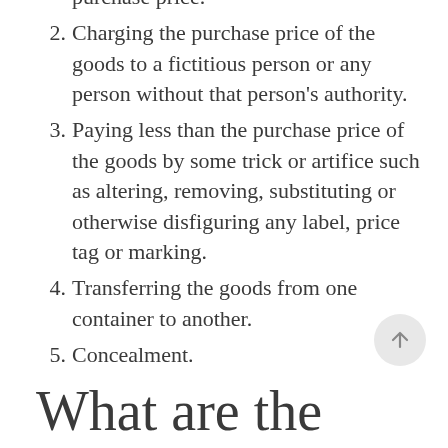purchase price.
2. Charging the purchase price of the goods to a fictitious person or any person without that person's authority.
3. Paying less than the purchase price of the goods by some trick or artifice such as altering, removing, substituting or otherwise disfiguring any label, price tag or marking.
4. Transferring the goods from one container to another.
5. Concealment.
What are the penalties for